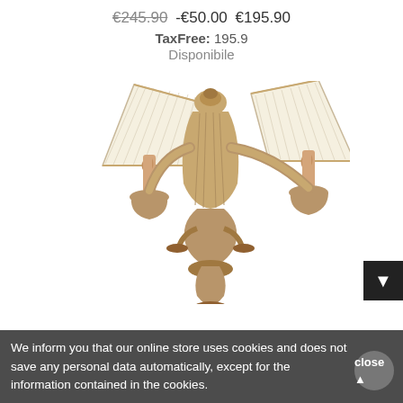€245.90  -€50.00  €195.90
TaxFree: 195.9
Disponibile
[Figure (photo): Ornate gold/silver wall sconce lamp with two cream pleated lamp shades and decorative carved baroque-style body with candle-style arms]
We inform you that our online store uses cookies and does not save any personal data automatically, except for the information contained in the cookies.